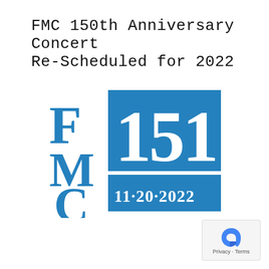FMC 150th Anniversary Concert
Re-Scheduled for 2022
[Figure (logo): FMC 151 anniversary logo with blue block containing '151' in large numerals and '11·20·2022' below, alongside blue serif letters F, M, C stacked vertically on the left]
Privacy · Terms